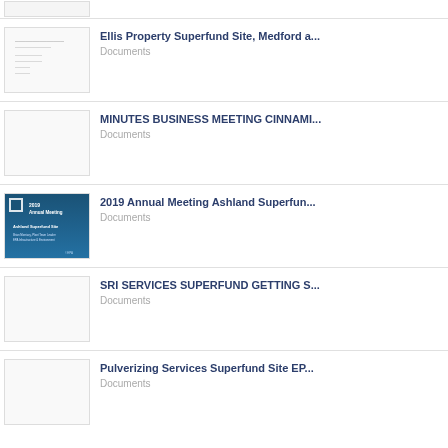(partial item at top)
Ellis Property Superfund Site, Medford a...
Documents
MINUTES BUSINESS MEETING CINNAMI...
Documents
2019 Annual Meeting Ashland Superfun...
Documents
SRI SERVICES SUPERFUND GETTING S...
Documents
Pulverizing Services Superfund Site EP...
Documents